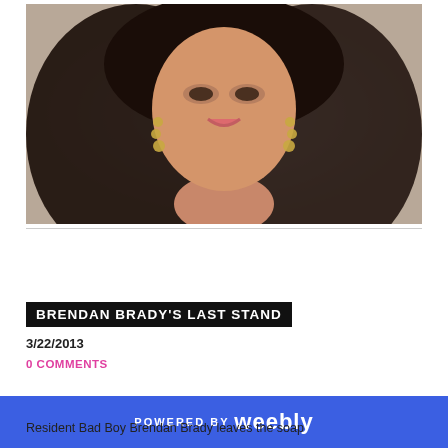[Figure (photo): Portrait photo of a young woman with long dark wavy hair, wearing gold coin drop earrings, smiling at the camera against a light background.]
BRENDAN BRADY'S LAST STAND
3/22/2013
0 COMMENTS
POWERED BY Weebly
Resident Bad Boy Brendan Brady leaves the soap